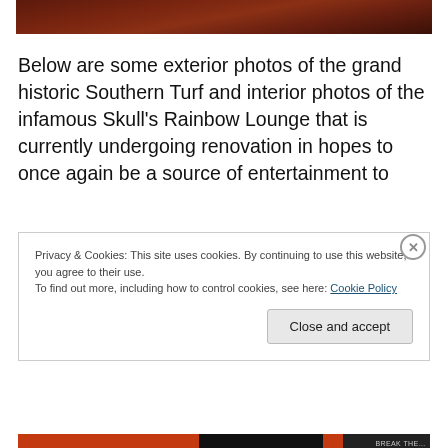[Figure (photo): Partial view of a dark reddish-brown wooden interior photo, cropped at top]
Below are some exterior photos of the grand historic Southern Turf and interior photos of the infamous Skull's Rainbow Lounge that is currently undergoing renovation in hopes to once again be a source of entertainment to
Privacy & Cookies: This site uses cookies. By continuing to use this website, you agree to their use.
To find out more, including how to control cookies, see here: Cookie Policy
[Figure (photo): Partial bottom image strip visible below cookie banner]